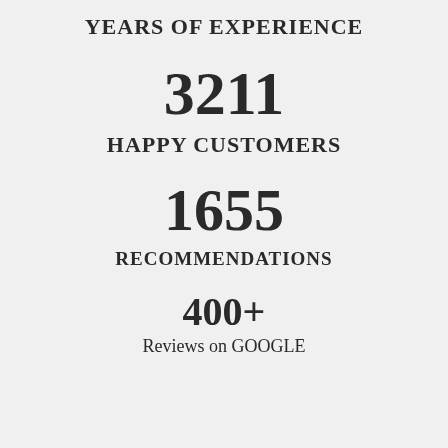YEARS OF EXPERIENCE
3211
HAPPY CUSTOMERS
1655
RECOMMENDATIONS
400+
Reviews on GOOGLE